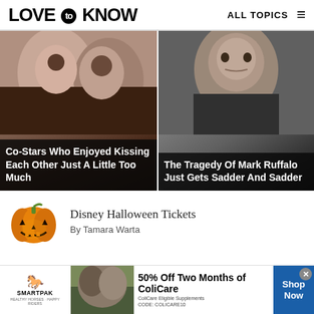LOVE to KNOW   ALL TOPICS ≡
[Figure (photo): Two people kissing close-up photo]
Co-Stars Who Enjoyed Kissing Each Other Just A Little Too Much
[Figure (photo): Portrait of Mark Ruffalo]
The Tragedy Of Mark Ruffalo Just Gets Sadder And Sadder
[Figure (photo): Jack-o-lantern pumpkin illustration]
Disney Halloween Tickets
By Tamara Warta
[Figure (photo): SmartPak advertisement - 50% Off Two Months of ColiCare. ColiCare Eligible Supplements CODE: COLICARE10. Shop Now.]